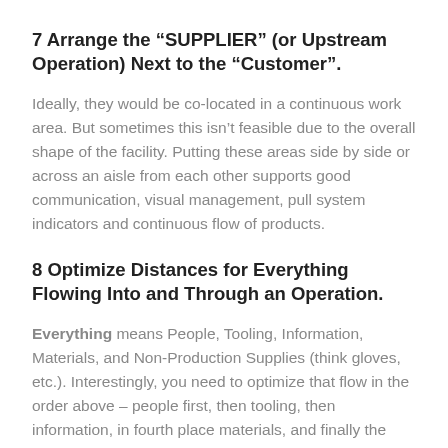7 Arrange the “SUPPLIER” (or Upstream Operation) Next to the “Customer”.
Ideally, they would be co-located in a continuous work area. But sometimes this isn’t feasible due to the overall shape of the facility. Putting these areas side by side or across an aisle from each other supports good communication, visual management, pull system indicators and continuous flow of products.
8 Optimize Distances for Everything Flowing Into and Through an Operation.
Everything means People, Tooling, Information, Materials, and Non-Production Supplies (think gloves, etc.). Interestingly, you need to optimize that flow in the order above – people first, then tooling, then information, in fourth place materials, and finally the other non-production supplies. Too often material flow trumps all